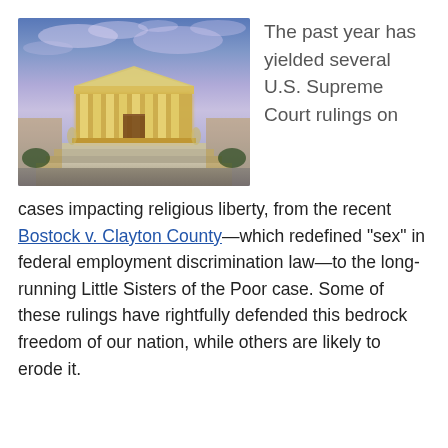[Figure (photo): Photograph of the U.S. Supreme Court building exterior at dusk/night, lit with warm golden light, against a blue-purple cloudy sky.]
The past year has yielded several U.S. Supreme Court rulings on cases impacting religious liberty, from the recent Bostock v. Clayton County—which redefined “sex” in federal employment discrimination law—to the long-running Little Sisters of the Poor case. Some of these rulings have rightfully defended this bedrock freedom of our nation, while others are likely to erode it.